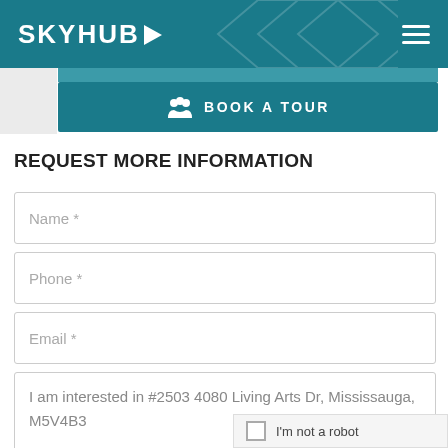SKYHUB
[Figure (screenshot): BOOK A TOUR button with people icon]
REQUEST MORE INFORMATION
Name *
Phone *
Email *
I am interested in #2503 4080 Living Arts Dr, Mississauga, M5V4B3
I'm not a robot